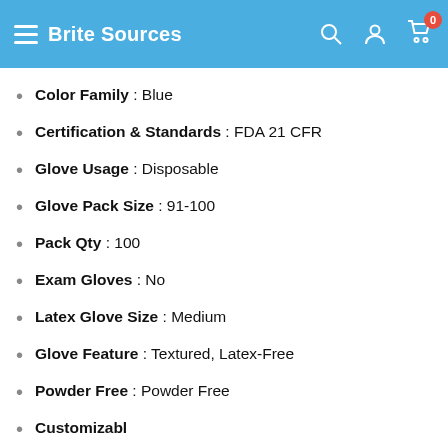Brite Sources
Color Family : Blue
Certification & Standards : FDA 21 CFR
Glove Usage : Disposable
Glove Pack Size : 91-100
Pack Qty : 100
Exam Gloves : No
Latex Glove Size : Medium
Glove Feature : Textured, Latex-Free
Powder Free : Powder Free
Customizable :
True Color :
Glove Type : Powder Free
[Figure (screenshot): Chat popup overlay: 'Questions? We can help. Chat with us now.' with a blue chat bubble icon on dark background.]